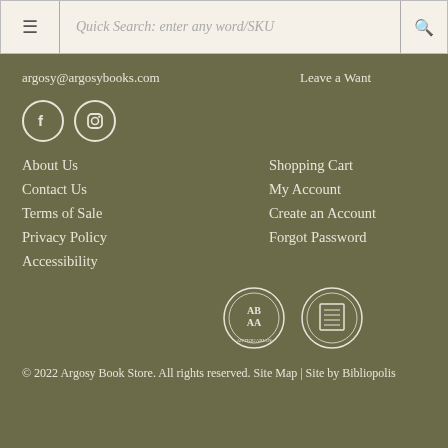≡  Quick Search: enter any word/SKU  🔍
argosy@argosybooks.com
Leave a Want
[Figure (other): Facebook and Instagram social media icons as white circles with logos]
About Us
Contact Us
Terms of Sale
Privacy Policy
Accessibility
Shopping Cart
My Account
Create an Account
Forgot Password
[Figure (logo): ABAA (Antiquarian Booksellers' Association of America) badge and ILAB badge logos in circular formats]
© 2022 Argosy Book Store. All rights reserved. Site Map | Site by Bibliopolis